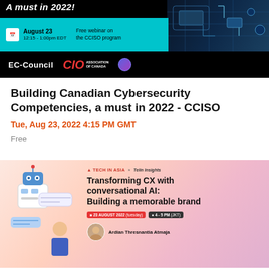[Figure (infographic): Black banner with cyan bar showing EC-Council and CIO Association of Canada webinar promotion for Building Canadian Cybersecurity Competencies. August 23, 12:15 - 1:00pm EDT. Free webinar on the CCISO program. Circuit board imagery on right side.]
Building Canadian Cybersecurity Competencies, a must in 2022 - CCISO
Tue, Aug 23, 2022 4:15 PM GMT
Free
[Figure (infographic): Pink/peach gradient banner for Tech in Asia x Telin Insights webinar: Transforming CX with conversational AI: Building a memorable brand. 23 August 2022 (Tuesday), 4-5 PM (JKT). Speaker: Ardian Thresnantia Atmaja. Robot/chatbot illustration on left side.]